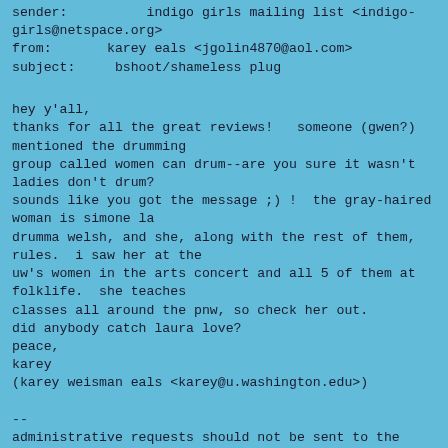sender:          indigo girls mailing list <indigo-girls@netspace.org>
from:       karey eals <jgolin4870@aol.com>
subject:     bshoot/shameless plug
hey y'all,
thanks for all the great reviews!   someone (gwen?) mentioned the drumming
group called women can drum--are you sure it wasn't ladies don't drum?
sounds like you got the message ;) !  the gray-haired woman is simone la
drumma welsh, and she, along with the rest of them, rules.  i saw her at the
uw's women in the arts concert and all 5 of them at folklife.  she teaches
classes all around the pnw, so check her out.
did anybody catch laura love?
peace,
karey
(karey weisman eals <karey@u.washington.edu>)
--
administrative requests should not be sent to the list!
to unsubscribe, send email to listserv@netspace.org
        with the line: signoff indigo-girls